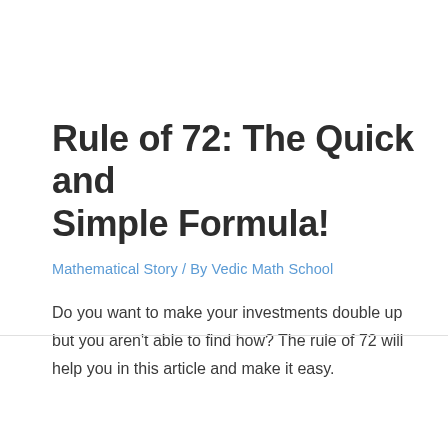Rule of 72: The Quick and Simple Formula!
Mathematical Story / By Vedic Math School
Do you want to make your investments double up but you aren't able to find how? The rule of 72 will help you in this article and make it easy.